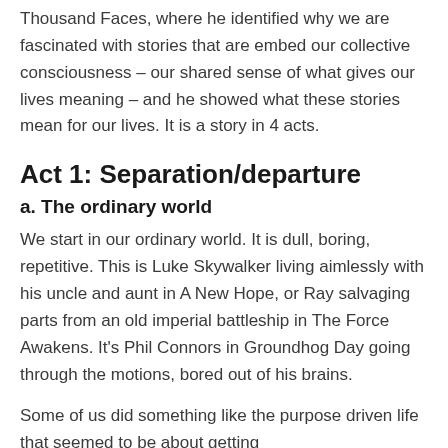Thousand Faces, where he identified why we are fascinated with stories that are embed our collective consciousness – our shared sense of what gives our lives meaning – and he showed what these stories mean for our lives. It is a story in 4 acts.
Act 1: Separation/departure
a. The ordinary world
We start in our ordinary world. It is dull, boring, repetitive. This is Luke Skywalker living aimlessly with his uncle and aunt in A New Hope, or Ray salvaging parts from an old imperial battleship in The Force Awakens. It's Phil Connors in Groundhog Day going through the motions, bored out of his brains.
Some of us did something like the purpose driven life that seemed to be about getting